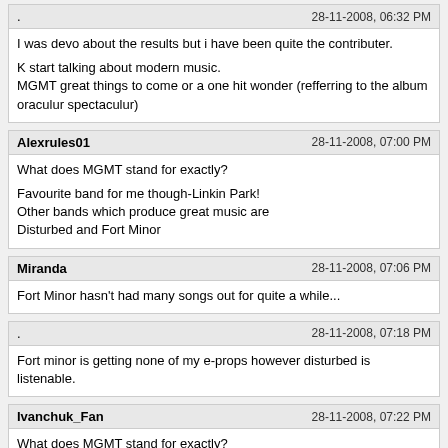. | 28-11-2008, 06:32 PM
I was devo about the results but i have been quite the contributer.

K start talking about modern music.
MGMT great things to come or a one hit wonder (refferring to the album oraculur spectaculur)
Alexrules01 | 28-11-2008, 07:00 PM
What does MGMT stand for exactly?

Favourite band for me though-Linkin Park!
Other bands which produce great music are
Disturbed and Fort Minor
Miranda | 28-11-2008, 07:06 PM
Fort Minor hasn't had many songs out for quite a while...
. | 28-11-2008, 07:18 PM
Fort minor is getting none of my e-props however disturbed is listenable.
Ivanchuk_Fan | 28-11-2008, 07:22 PM
What does MGMT stand for exactly?


Management.